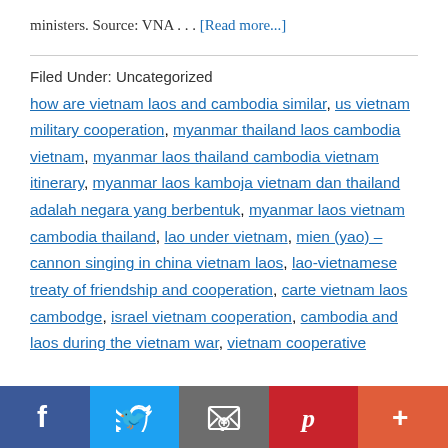ministers. Source: VNA . . . [Read more...]
Filed Under: Uncategorized
how are vietnam laos and cambodia similar, us vietnam military cooperation, myanmar thailand laos cambodia vietnam, myanmar laos thailand cambodia vietnam itinerary, myanmar laos kamboja vietnam dan thailand adalah negara yang berbentuk, myanmar laos vietnam cambodia thailand, lao under vietnam, mien (yao) – cannon singing in china vietnam laos, lao-vietnamese treaty of friendship and cooperation, carte vietnam laos cambodge, israel vietnam cooperation, cambodia and laos during the vietnam war, vietnam cooperative
Social sharing bar: Facebook, Twitter, Email, Pinterest, More